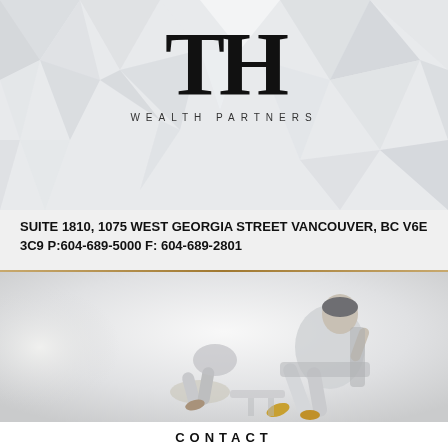[Figure (logo): TH Wealth Partners logo with geometric triangle pattern background. Large serif 'TH' letters in black with 'WEALTH PARTNERS' in spaced caps beneath.]
SUITE 1810, 1075 WEST GEORGIA STREET VANCOUVER, BC V6E 3C9 P:604-689-5000 F: 604-689-2801
[Figure (photo): Aerial/top-down view of two people relaxing on modern white/grey furniture in a bright minimalist interior setting.]
CONTACT